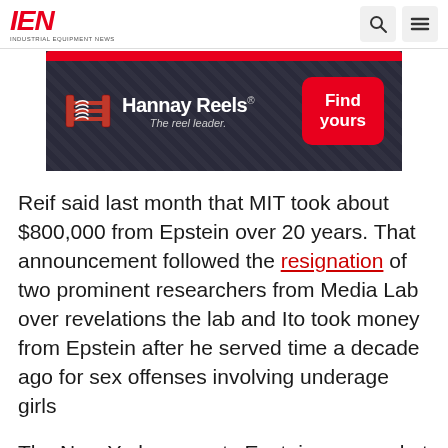IEN — INDUSTRIAL EQUIPMENT NEWS
[Figure (other): Hannay Reels advertisement banner with dark diamond-plate background, reel icon, brand name 'Hannay Reels — The reel leader.' and a red 'Find yours' button]
Reif said last month that MIT took about $800,000 from Epstein over 20 years. That announcement followed the resignation of two prominent researchers from Media Lab over revelations the lab and Ito took money from Epstein after he served time a decade ago for sex offenses involving underage girls
The New Yorker reports Epstein arranged at least